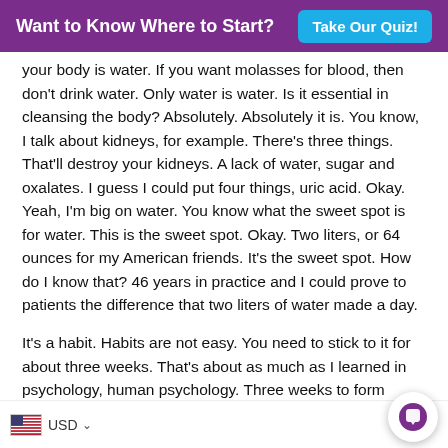Want to Know Where to Start? Take Our Quiz!
your body is water. If you want molasses for blood, then don't drink water. Only water is water. Is it essential in cleansing the body? Absolutely. Absolutely it is. You know, I talk about kidneys, for example. There's three things. That'll destroy your kidneys. A lack of water, sugar and oxalates. I guess I could put four things, uric acid. Okay. Yeah, I'm big on water. You know what the sweet spot is for water. This is the sweet spot. Okay. Two liters, or 64 ounces for my American friends. It's the sweet spot. How do I know that? 46 years in practice and I could prove to patients the difference that two liters of water made a day.
It's a habit. Habits are not easy. You need to stick to it for about three weeks. That's about as much as I learned in psychology, human psychology. Three weeks to form a habit, we're right. 21 days. Okay. That's one of the reasons that the reset is so good, because you form
USD